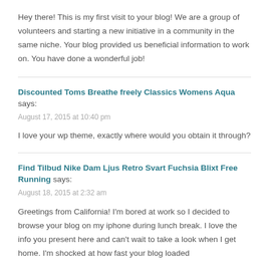Hey there! This is my first visit to your blog! We are a group of volunteers and starting a new initiative in a community in the same niche. Your blog provided us beneficial information to work on. You have done a wonderful job!
Discounted Toms Breathe freely Classics Womens Aqua says:
August 17, 2015 at 10:40 pm
I love your wp theme, exactly where would you obtain it through?
Find Tilbud Nike Dam Ljus Retro Svart Fuchsia Blixt Free Running says:
August 18, 2015 at 2:32 am
Greetings from California! I'm bored at work so I decided to browse your blog on my iphone during lunch break. I love the info you present here and can't wait to take a look when I get home. I'm shocked at how fast your blog loaded